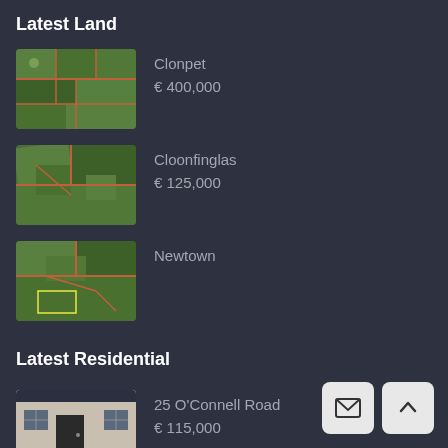Latest Land
Clonpet
€ 400,000
Cloonfinglas
€ 125,000
Newtown
Latest Residential
25 O'Connell Road
€ 115,000